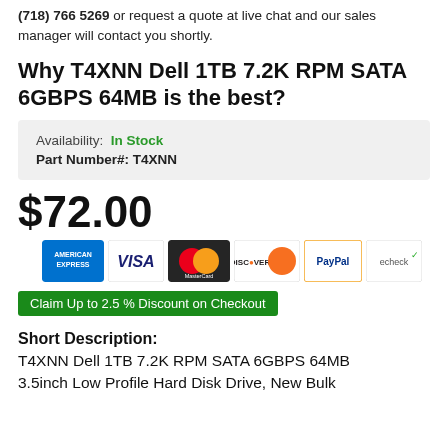(718) 766 5269 or request a quote at live chat and our sales manager will contact you shortly.
Why T4XNN Dell 1TB 7.2K RPM SATA 6GBPS 64MB is the best?
| Availability: | In Stock |
| Part Number#: | T4XNN |
$72.00
[Figure (other): Payment method icons: American Express, Visa, MasterCard, Discover, PayPal, echeck]
Claim Up to 2.5 % Discount on Checkout
Short Description:
T4XNN Dell 1TB 7.2K RPM SATA 6GBPS 64MB 3.5inch Low Profile Hard Disk Drive, New Bulk